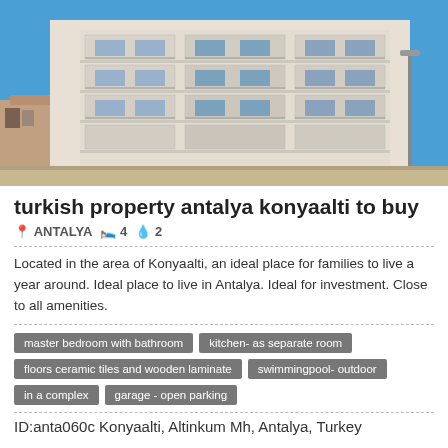[Figure (photo): Photograph of a modern white multi-storey apartment building with balconies under a clear blue sky, located in Konyaalti, Antalya, Turkey.]
turkish property antalya konyaalti to buy
📍 ANTALYA  🛏 4  💧 2
Located in the area of Konyaalti, an ideal place for families to live a year around. Ideal place to live in Antalya. Ideal for investment. Close to all amenities.
master bedroom with bathroom
kitchen- as separate room
floors ceramic tiles and wooden laminate
swimmingpool- outdoor
in a complex
garage - open parking
ID:anta060c Konyaalti, Altinkum Mh, Antalya, Turkey